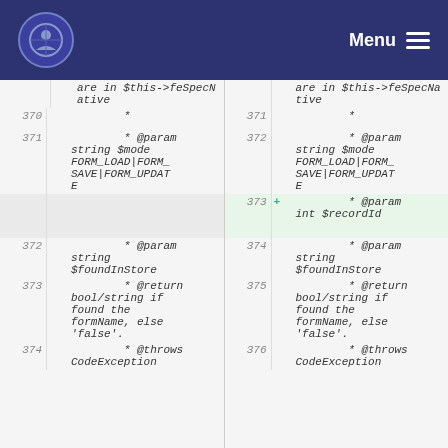Menu
Diff view showing code lines 370-374 (left) and 371-376 (right) with line 373 added on right: '+ * @param int $recordId'